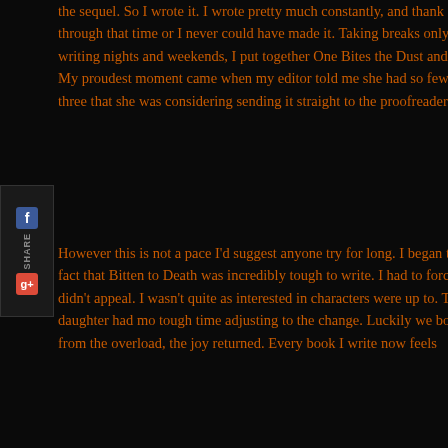the sequel. So I wrote it. I wrote pretty much constantly, and thank God my family supported me through that time or I never could have made it. Taking breaks only for meals and necessary chores, writing nights and weekends, I put together One Bites the Dust and Biting the Bullet in record time. My proudest moment came when my editor told me she had so few changes to recommend on book three that she was considering sending it straight to the proofreader.
However this is not a pace I'd suggest anyone try for long. I began to burn out, as evidenced by the fact that Bitten to Death was incredibly tough to write. I had to force myself to the laptop. Writing didn't appeal. I wasn't quite as interested in what my characters were up to. This was also the time when my daughter had moved and had a tough time adjusting to the change. Luckily we both turned out to be resilient. Once I could recover from the overload, the joy returned. Every book I write now feels like a gift.
But I'm still learning all the time how to be a better writer. Every story I read or watch on the big/small screen teaches me something about plot, character motivation, and scene setting. And I listen closely to my editor's suggestions. Not just because she's a good reader, but because she's an excellent teacher, and I believe working with she will put me in the right place to be a bestselling author. Of course, to do that I'm going to have to write kickass stories. I don't think it'll be a problem. Especially when I have Jaz around to do the kicking!